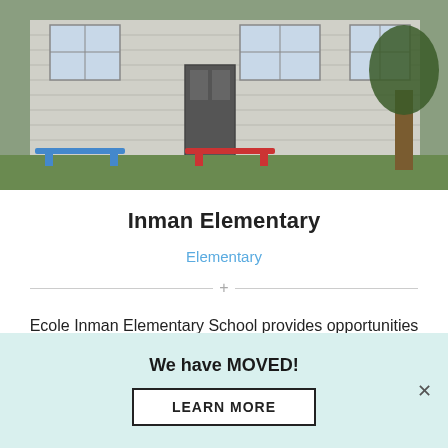[Figure (photo): Exterior photo of Inman Elementary school building with white/grey siding, windows, a door, benches (blue and red) on a lawn, and a tree.]
Inman Elementary
Elementary
Ecole Inman Elementary School provides opportunities for students to achieve social and individual excellence in a safe, positive, and
We have MOVED!
LEARN MORE